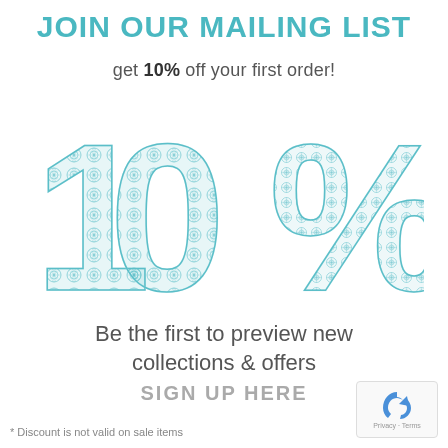JOIN OUR MAILING LIST
get 10% off your first order!
[Figure (illustration): Large decorative '10%' text with teal mandala/henna pattern fill]
Be the first to preview new collections & offers
SIGN UP HERE
* Discount is not valid on sale items